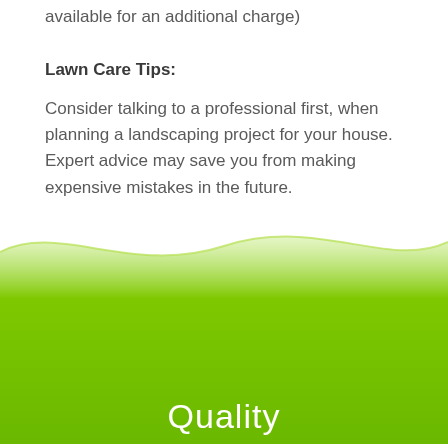available for an additional charge)
Lawn Care Tips:
Consider talking to a professional first, when planning a landscaping project for your house. Expert advice may save you from making expensive mistakes in the future.
[Figure (illustration): Green wave decorative footer with white 'Quality' text at the bottom]
Quality